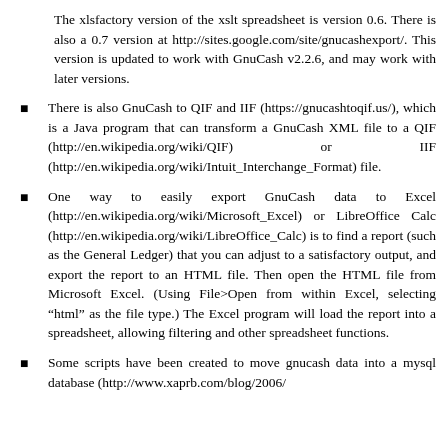The xlsfactory version of the xslt spreadsheet is version 0.6. There is also a 0.7 version at http://sites.google.com/site/gnucashexport/. This version is updated to work with GnuCash v2.2.6, and may work with later versions.
There is also GnuCash to QIF and IIF (https://gnucashtoqif.us/), which is a Java program that can transform a GnuCash XML file to a QIF (http://en.wikipedia.org/wiki/QIF) or IIF (http://en.wikipedia.org/wiki/Intuit_Interchange_Format) file.
One way to easily export GnuCash data to Excel (http://en.wikipedia.org/wiki/Microsoft_Excel) or LibreOffice Calc (http://en.wikipedia.org/wiki/LibreOffice_Calc) is to find a report (such as the General Ledger) that you can adjust to a satisfactory output, and export the report to an HTML file. Then open the HTML file from Microsoft Excel. (Using File>Open from within Excel, selecting "html" as the file type.) The Excel program will load the report into a spreadsheet, allowing filtering and other spreadsheet functions.
Some scripts have been created to move gnucash data into a mysql database (http://www.xaprb.com/blog/2006/